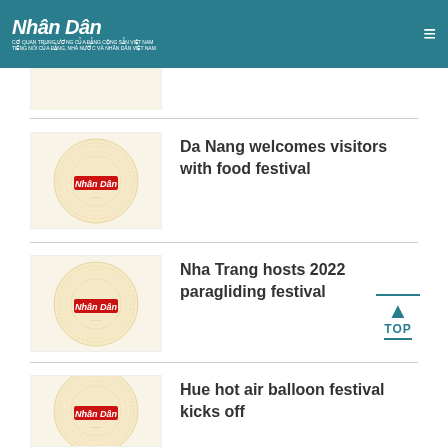Nhân Dân
[Figure (logo): Nhân Dân newspaper logo watermark thumbnail]
Da Nang welcomes visitors with food festival
[Figure (logo): Nhân Dân newspaper logo watermark thumbnail]
Nha Trang hosts 2022 paragliding festival
[Figure (logo): Nhân Dân newspaper logo watermark thumbnail]
Hue hot air balloon festival kicks off